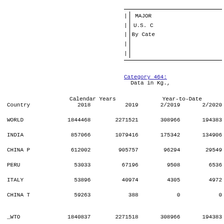MAJOR
U.S. C
By Cate
Category 464:
Data in Kg.,
| Country | Calendar Years 2018 | Calendar Years 2019 | Year-to-Date 2/2019 | Year-to-Date 2/2020 |
| --- | --- | --- | --- | --- |
| WORLD | 1844468 | 2271521 | 308966 | 194383 |
| INDIA | 857066 | 1079416 | 175342 | 134906 |
| CHINA P | 612002 | 905757 | 96294 | 29549 |
| PERU | 53033 | 67196 | 9508 | 6536 |
| ITALY | 53896 | 40974 | 4305 | 4972 |
| CHINA T | 59263 | 388 | 0 | 0 |
| _WTO | 1840837 | 2271518 | 308966 | 194383 |